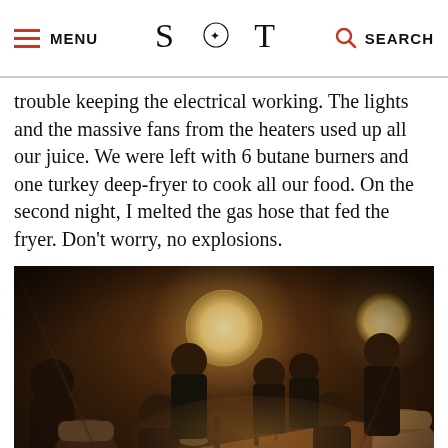MENU | S·T | SEARCH
trouble keeping the electrical working. The lights and the massive fans from the heaters used up all our juice. We were left with 6 butane burners and one turkey deep-fryer to cook all our food. On the second night, I melted the gas hose that fed the fryer. Don't worry, no explosions.
[Figure (photo): A long dinner table in a dimly lit tent with warm amber lighting. Many people sit along both sides of the table, eating and talking. Large white globe pendant lights hang overhead. The atmosphere is intimate and crowded.]